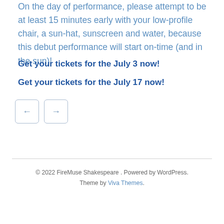On the day of performance, please attempt to be at least 15 minutes early with your low-profile chair, a sun-hat, sunscreen and water, because this debut performance will start on-time (and in the sun)!
Get your tickets for the July 3 now!
Get your tickets for the July 17 now!
© 2022 FireMuse Shakespeare . Powered by WordPress. Theme by Viva Themes.